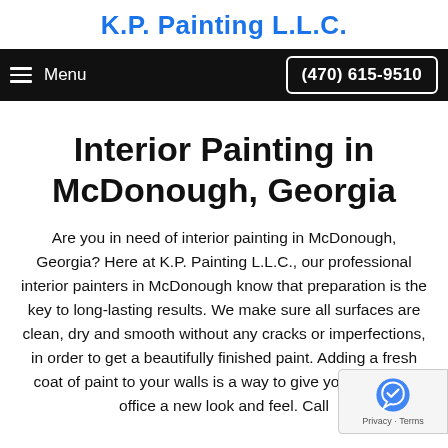K.P. Painting L.L.C.
Menu  (470) 615-9510
Interior Painting in McDonough, Georgia
Are you in need of interior painting in McDonough, Georgia? Here at K.P. Painting L.L.C., our professional interior painters in McDonough know that preparation is the key to long-lasting results. We make sure all surfaces are clean, dry and smooth without any cracks or imperfections, in order to get a beautifully finished paint. Adding a fresh coat of paint to your walls is a way to give your home or office a new look and feel. Call